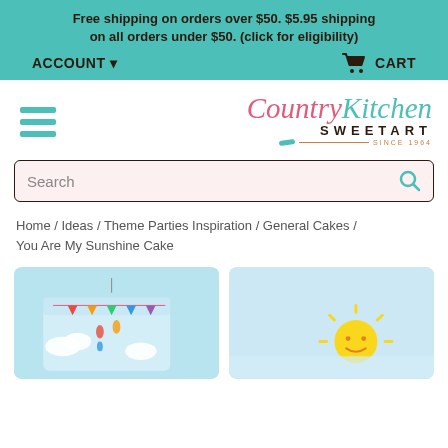Free shipping on orders over $50. $5.95 shipping on all orders under $50. (click for eligibility)
ACCOUNT ▾   🛒 CART
[Figure (logo): Country Kitchen Sweetart logo with hamburger menu icon]
Search
Home / Ideas / Theme Parties Inspiration / General Cakes / You Are My Sunshine Cake
[Figure (photo): You Are My Sunshine Cake - left image showing a cake with sky blue background, clouds, rainbow mobile decoration]
[Figure (photo): You Are My Sunshine Cake - right image showing a cake with sun decoration]